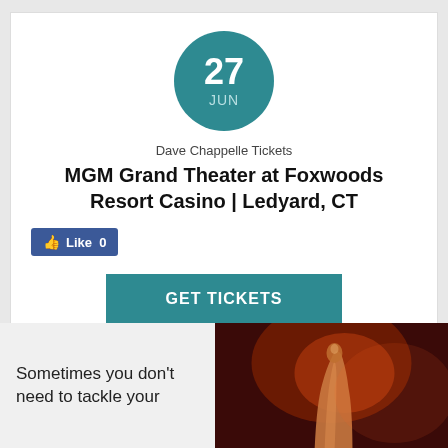[Figure (other): Teal circle with date '27 JUN' centered inside]
Dave Chappelle Tickets
MGM Grand Theater at Foxwoods Resort Casino | Ledyard, CT
[Figure (other): Facebook Like button with count 0]
[Figure (other): GET TICKETS teal button]
Sometimes you don't need to tackle your
[Figure (photo): Close-up photo of a finger under red/orange stage lighting on dark background]